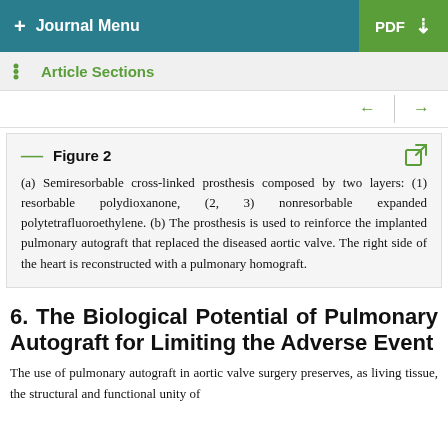+ Journal Menu  PDF ↓
Article Sections
Figure 2 (a) Semiresorbable cross-linked prosthesis composed by two layers: (1) resorbable polydioxanone, (2, 3) nonresorbable expanded polytetrafluoroethylene. (b) The prosthesis is used to reinforce the implanted pulmonary autograft that replaced the diseased aortic valve. The right side of the heart is reconstructed with a pulmonary homograft.
6. The Biological Potential of Pulmonary Autograft for Limiting the Adverse Event
The use of pulmonary autograft in aortic valve surgery preserves, as living tissue, the structural and functional unity of